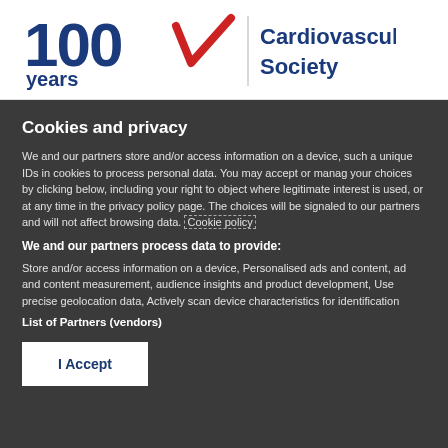[Figure (logo): Canadian Cardiovascular Society logo with '100 years' text in blue, a red checkmark/heart symbol, and 'Cardiovascular Society' text in blue]
Cookies and privacy
We and our partners store and/or access information on a device, such as unique IDs in cookies to process personal data. You may accept or manage your choices by clicking below, including your right to object where legitimate interest is used, or at any time in the privacy policy page. These choices will be signaled to our partners and will not affect browsing data. Cookie policy
We and our partners process data to provide:
Store and/or access information on a device, Personalised ads and content, ad and content measurement, audience insights and product development, Use precise geolocation data, Actively scan device characteristics for identification
List of Partners (vendors)
I Accept